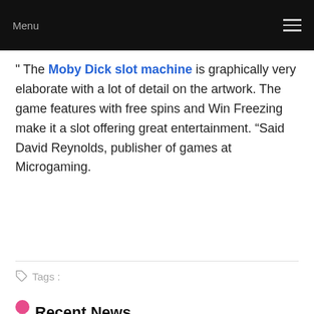Menu
" The Moby Dick slot machine is graphically very elaborate with a lot of detail on the artwork. The game features with free spins and Win Freezing make it a slot offering great entertainment. “Said David Reynolds, publisher of games at Microgaming.
Tags :
Recent News
Atletico Goianiense vs Sao Paulo Match Review
September 1, 2022